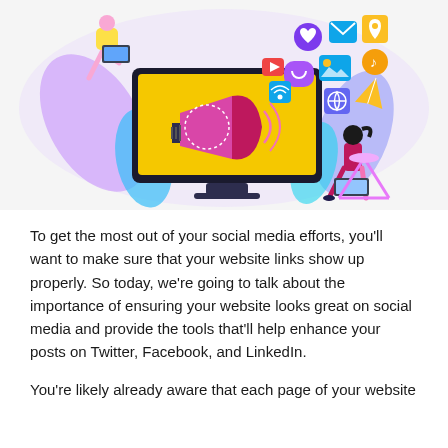[Figure (illustration): Colorful digital marketing illustration showing a large monitor with a megaphone on screen, social media icons floating around, and cartoon people interacting with digital content on a light purple/white oval background.]
To get the most out of your social media efforts, you'll want to make sure that your website links show up properly. So today, we're going to talk about the importance of ensuring your website looks great on social media and provide the tools that'll help enhance your posts on Twitter, Facebook, and LinkedIn.
You're likely already aware that each page of your website